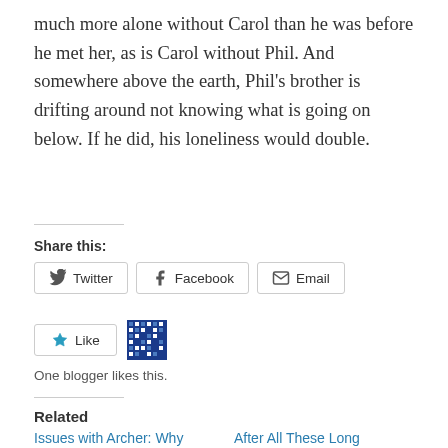much more alone without Carol than he was before he met her, as is Carol without Phil. And somewhere above the earth, Phil's brother is drifting around not knowing what is going on below. If he did, his loneliness would double.
Share this:
Twitter  Facebook  Email
Like  [avatar]  One blogger likes this.
Related
Issues with Archer: Why  After All These Long